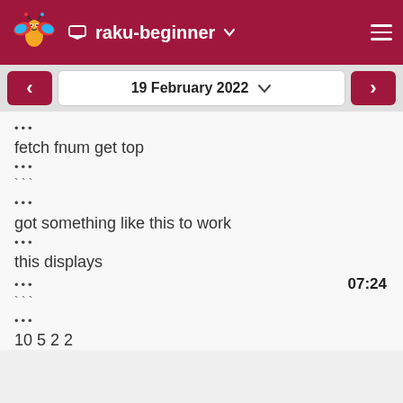raku-beginner
19 February 2022
•••
fetch fnum get top
•••
` ` `
•••
got something like this to work
•••
this displays
••• 07:24
` ` `
•••
10 5 2 2